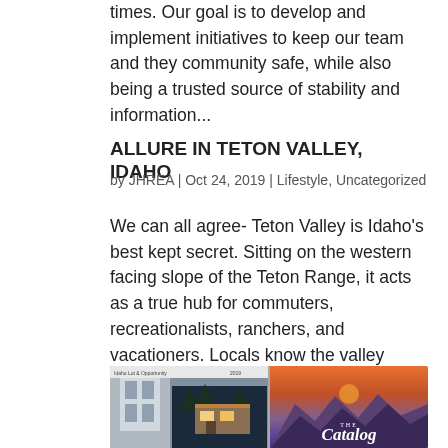times. Our goal is to develop and implement initiatives to keep our team and they community safe, while also being a trusted source of stability and information...
ALLURE IN TETON VALLEY, IDAHO
by JHREA | Oct 24, 2019 | Lifestyle, Uncategorized
We can all agree- Teton Valley is Idaho's best kept secret. Sitting on the western facing slope of the Teton Range, it acts as a true hub for commuters, recreationalists, ranchers, and vacationers. Locals know the valley boasts a direct shot to Yellowstone National...
[Figure (photo): Two publication covers side by side: left shows a real estate brochure with a house photo, right shows 'The Catalog' book with mountain/sunset imagery]